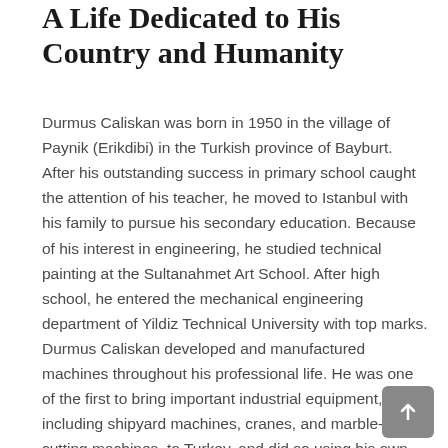A Life Dedicated to His Country and Humanity
Durmus Caliskan was born in 1950 in the village of Paynik (Erikdibi) in the Turkish province of Bayburt. After his outstanding success in primary school caught the attention of his teacher, he moved to Istanbul with his family to pursue his secondary education. Because of his interest in engineering, he studied technical painting at the Sultanahmet Art School. After high school, he entered the mechanical engineering department of Yildiz Technical University with top marks. Durmus Caliskan developed and manufactured machines throughout his professional life. He was one of the first to bring important industrial equipment, including shipyard machines, cranes, and marble-cutting machines, to Turkey, and did so using his own original designs. Throughout his life, he was closely involved with the community and supported it by encouraging many people to pursue an education. From his retirement from business life in 1998 until his death in 2018, he devoted